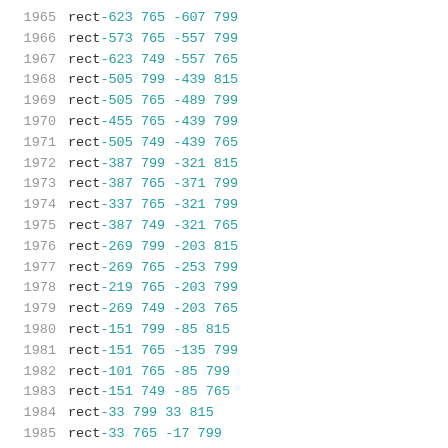1965  rect -623 765 -607 799
1966  rect -573 765 -557 799
1967  rect -623 749 -557 765
1968  rect -505 799 -439 815
1969  rect -505 765 -489 799
1970  rect -455 765 -439 799
1971  rect -505 749 -439 765
1972  rect -387 799 -321 815
1973  rect -387 765 -371 799
1974  rect -337 765 -321 799
1975  rect -387 749 -321 765
1976  rect -269 799 -203 815
1977  rect -269 765 -253 799
1978  rect -219 765 -203 799
1979  rect -269 749 -203 765
1980  rect -151 799 -85 815
1981  rect -151 765 -135 799
1982  rect -101 765 -85 799
1983  rect -151 749 -85 765
1984  rect -33 799 33 815
1985  rect -33 765 -17 799